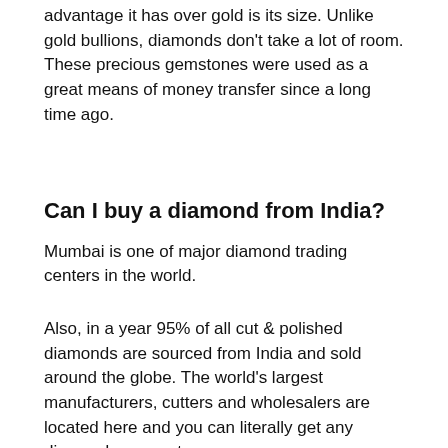advantage it has over gold is its size. Unlike gold bullions, diamonds don't take a lot of room. These precious gemstones were used as a great means of money transfer since a long time ago.
Can I buy a diamond from India?
Mumbai is one of major diamond trading centers in the world.
Also, in a year 95% of all cut & polished diamonds are sourced from India and sold around the globe. The world's largest manufacturers, cutters and wholesalers are located here and you can literally get any diamond you want.
Is gold cheaper in USA than India?
Is gold cheaper in USA than India? … The price of Gold remains same universally. USA is cheaper (if the wastage is same as in India.) in India we have duty of 11% on jewellery: